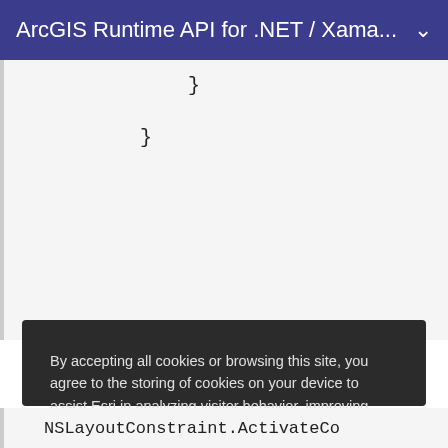ArcGIS Runtime API for .NET / Xama...
}
  }
By accepting all cookies or browsing this site, you agree to the storing of cookies on your device to assist Esri in analyzing visitor behavior, improving your experience, and delivering tailored advertising on and off our sites. Manage cookies here or at the bottom of any page.
Accept All Cookies
Cookies Settings
NSLayoutConstraint.ActivateCo